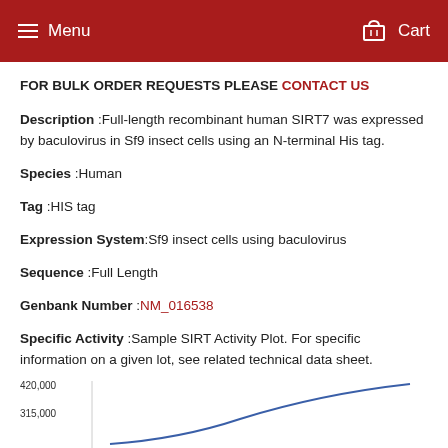Menu   Cart
FOR BULK ORDER REQUESTS PLEASE CONTACT US
Description :Full-length recombinant human SIRT7 was expressed by baculovirus in Sf9 insect cells using an N-terminal His tag.
Species :Human
Tag :HIS tag
Expression System:Sf9 insect cells using baculovirus
Sequence :Full Length
Genbank Number :NM_016538
Specific Activity :Sample SIRT Activity Plot. For specific information on a given lot, see related technical data sheet.
[Figure (line-chart): Line chart showing activity values. Y-axis shows values including 420,000 and 315,000. A blue line curves upward to the right.]